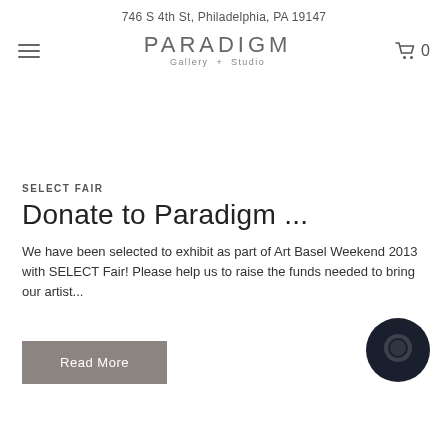746 S 4th St, Philadelphia, PA 19147
[Figure (logo): Paradigm Gallery + Studio logo with hamburger menu and shopping cart icon showing 0 items]
SELECT FAIR
Donate to Paradigm ...
We have been selected to exhibit as part of Art Basel Weekend 2013 with SELECT Fair! Please help us to raise the funds needed to bring our artist...
Read More